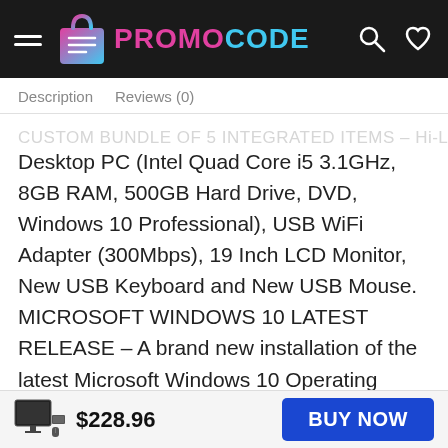PROMOCODE
Description   Reviews (0)
CUSTOM BUNDLE OF 5 INTEGRATED ITEMS – Hi-Like Desktop PC (Intel Quad Core i5 3.1GHz, 8GB RAM, 500GB Hard Drive, DVD, Windows 10 Professional), USB WiFi Adapter (300Mbps), 19 Inch LCD Monitor, New USB Keyboard and New USB Mouse. MICROSOFT WINDOWS 10 LATEST RELEASE – A brand new installation of the latest Microsoft Windows 10 Operating System, free of bloatware commonly installed from other manufacturers. As Microsoft's latest and best OS to date, Windows 10 will maximize the utility of your PC for years to come.
$228.96
BUY NOW